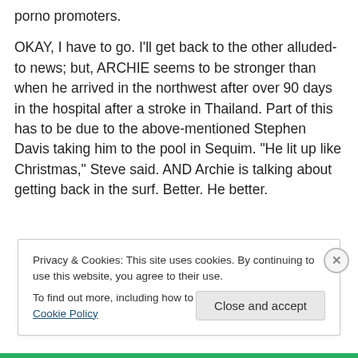porno promoters.
OKAY, I have to go. I'll get back to the other alluded-to news; but, ARCHIE seems to be stronger than when he arrived in the northwest after over 90 days in the hospital after a stroke in Thailand. Part of this has to be due to the above-mentioned Stephen Davis taking him to the pool in Sequim. “He lit up like Christmas,” Steve said. AND Archie is talking about getting back in the surf. Better. He better.
Privacy & Cookies: This site uses cookies. By continuing to use this website, you agree to their use.
To find out more, including how to control cookies, see here: Cookie Policy